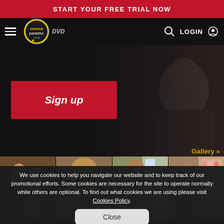START YOUR FREE TRIAL NOW
[Figure (screenshot): Cinema Paradiso website navigation bar with hamburger menu, Cinema Paradiso logo, DVD text, search icon, LOGIN and user icon]
[Figure (screenshot): Sign up button in red on dark hero background]
Gallery >>
[Figure (photo): Four movie screenshot thumbnails in a horizontal gallery strip]
We use cookies to help you navigate our website and to keep track of our promotional efforts. Some cookies are necessary for the site to operate normally while others are optional. To find out what cookies we are using please visit Cookies Policy.
Close